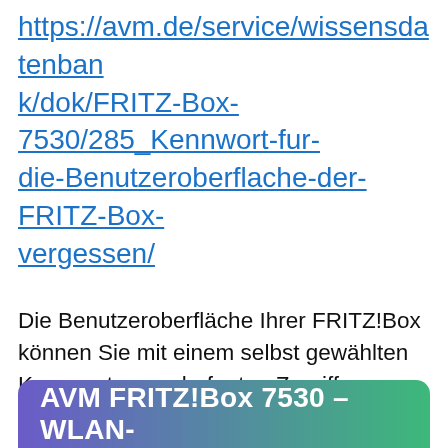https://avm.de/service/wissensdatenbank/dok/FRITZ-Box-7530/285_Kennwort-fur-die-Benutzeroberflache-der-FRITZ-Box-vergessen/
Die Benutzeroberfläche Ihrer FRITZ!Box können Sie mit einem selbst gewählten Kennwort vor unbefugten Zugriffen schützen. Wenn Sie das Standardkennwort von der Unterseite der FRITZ!Box geändert und das Kennwort vergessen haben, setzen Sie das Kennwort zurück oder laden Sie die Werkseinstellungen der FRITZ!Box. Anschließend können Sie sich wieder anmelden und ein ...
AVM FRITZ!Box 7530 – WLAN-